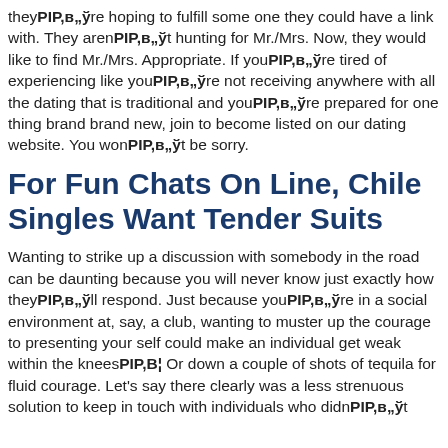they PIP,в„ўre hoping to fulfill some one they could have a link with. They aren PIP,в„ўt hunting for Mr./Mrs. Now, they would like to find Mr./Mrs. Appropriate. If you PIP,в„ўre tired of experiencing like you PIP,в„ўre not receiving anywhere with all the dating that is traditional and you PIP,в„ўre prepared for one thing brand brand new, join to become listed on our dating website. You won PIP,в„ўt be sorry.
For Fun Chats On Line, Chile Singles Want Tender Suits
Wanting to strike up a discussion with somebody in the road can be daunting because you will never know just exactly how they PIP,в„ўll respond. Just because you PIP,в„ўre in a social environment at, say, a club, wanting to muster up the courage to presenting your self could make an individual get weak within the knees PIP,В¦ Or down a couple of shots of tequila for fluid courage. Let's say there clearly was a less strenuous solution to keep in touch with individuals who didn PIP,в„ўt